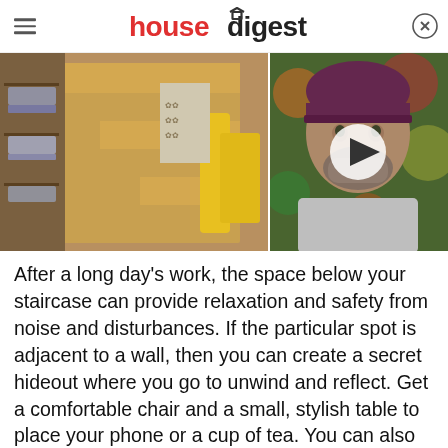housedigest
[Figure (photo): Left panel: under-staircase shelving unit with folded grey textiles and wooden shelves. Right panel: man wearing purple beanie hat with video play button overlay, colorful background.]
After a long day's work, the space below your staircase can provide relaxation and safety from noise and disturbances. If the particular spot is adjacent to a wall, then you can create a secret hideout where you go to unwind and reflect. Get a comfortable chair and a small, stylish table to place your phone or a cup of tea. You can also purchase a furry rug for that space to make it feel more like home. Alternatively, hang a few paintings on the wall